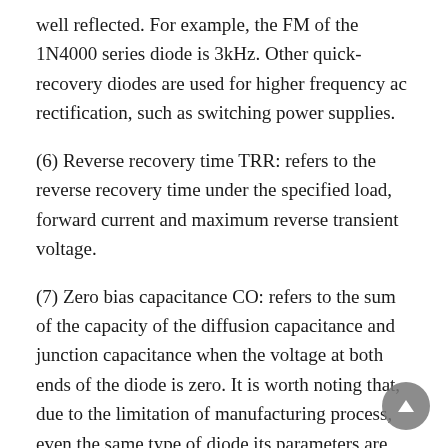well reflected. For example, the FM of the 1N4000 series diode is 3kHz. Other quick-recovery diodes are used for higher frequency ac rectification, such as switching power supplies.
(6) Reverse recovery time TRR: refers to the reverse recovery time under the specified load, forward current and maximum reverse transient voltage.
(7) Zero bias capacitance CO: refers to the sum of the capacity of the diffusion capacitance and junction capacitance when the voltage at both ends of the diode is zero. It is worth noting that, due to the limitation of manufacturing process, even the same type of diode its parameters are very discrete. The